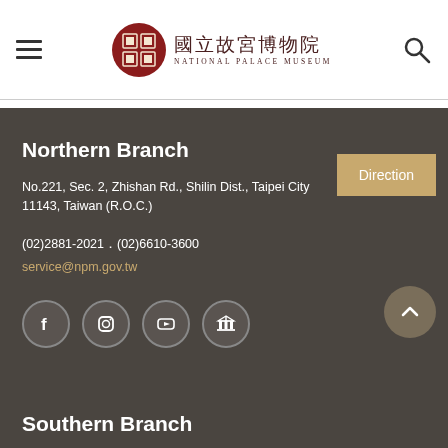National Palace Museum — 國立故宮博物院
Northern Branch
No.221, Sec. 2, Zhishan Rd., Shilin Dist., Taipei City 11143, Taiwan (R.O.C.)
(02)2881-2021．(02)6610-3600
service@npm.gov.tw
[Figure (other): Social media icons: Facebook, Instagram, YouTube, Museum official]
Southern Branch